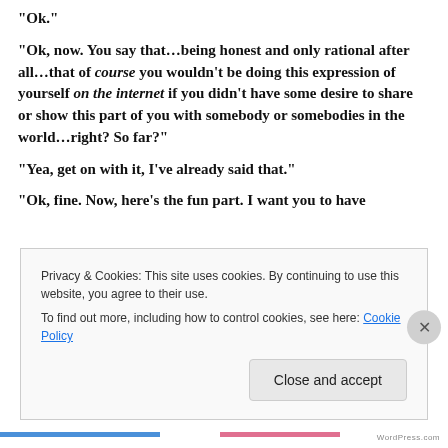“Ok.”
“Ok, now. You say that…being honest and only rational after all…that of course you wouldn’t be doing this expression of yourself on the internet if you didn’t have some desire to share or show this part of you with somebody or somebodies in the world…right? So far?”
“Yea, get on with it, I’ve already said that.”
“Ok, fine. Now, here’s the fun part. I want you to have
Privacy & Cookies: This site uses cookies. By continuing to use this website, you agree to their use.
To find out more, including how to control cookies, see here: Cookie Policy
Close and accept